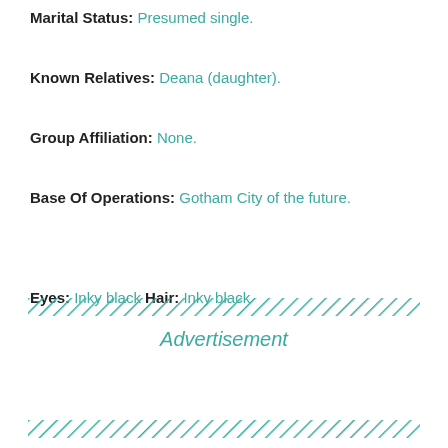Marital Status: Presumed single.
Known Relatives: Deana (daughter).
Group Affiliation: None.
Base Of Operations: Gotham City of the future.
Eyes: Inky black Hair: Inky black
[Figure (other): Diagonal hatching border stripe]
Advertisement
[Figure (other): Diagonal hatching border stripe]